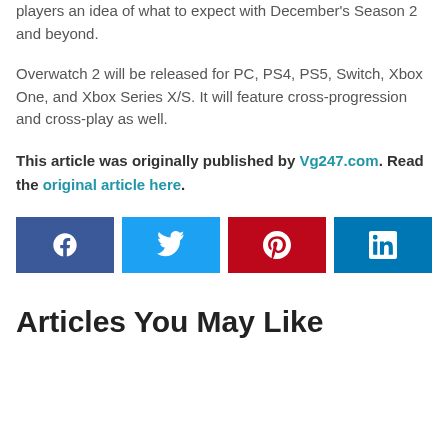players an idea of what to expect with December's Season 2 and beyond.
Overwatch 2 will be released for PC, PS4, PS5, Switch, Xbox One, and Xbox Series X/S. It will feature cross-progression and cross-play as well.
This article was originally published by Vg247.com. Read the original article here.
[Figure (infographic): Four social media share buttons: Facebook (dark blue with f icon), Twitter (light blue with bird icon), Pinterest (red with p icon), LinkedIn (blue with in icon)]
Articles You May Like